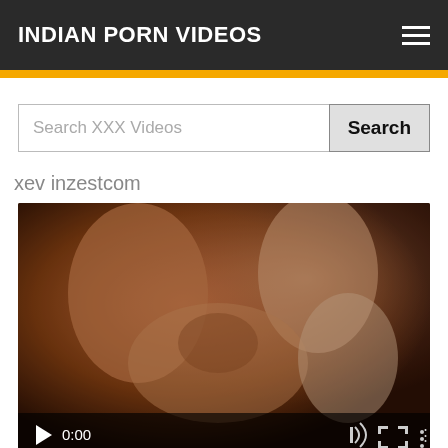INDIAN PORN VIDEOS
Search XXX Videos
xev inzestcom
[Figure (screenshot): Video player thumbnail showing adult video content with player controls overlay displaying timestamp 0:00 and control icons at the bottom]